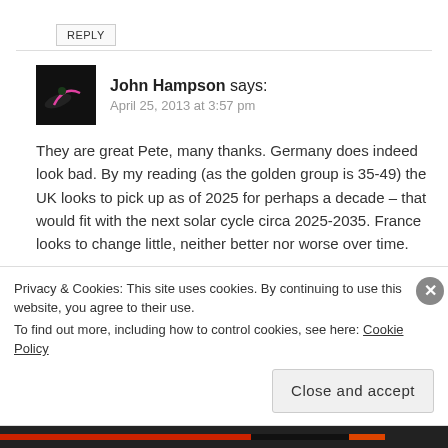REPLY
John Hampson says:
April 25, 2013 at 3:57 pm
They are great Pete, many thanks. Germany does indeed look bad. By my reading (as the golden group is 35-49) the UK looks to pick up as of 2025 for perhaps a decade – that would fit with the next solar cycle circa 2025-2035. France looks to change little, neither better nor worse over time.
Privacy & Cookies: This site uses cookies. By continuing to use this website, you agree to their use.
To find out more, including how to control cookies, see here: Cookie Policy
Close and accept